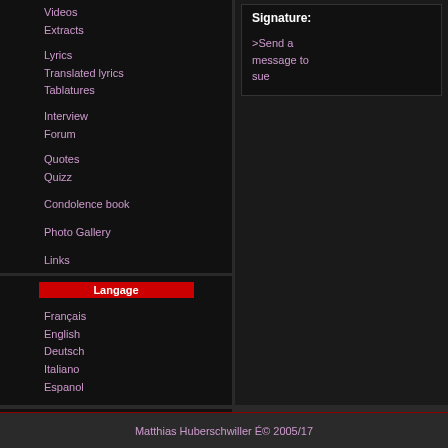Videos
Extracts
Lyrics
Translated lyrics
Tablatures
Interview
Forum
Quotes
Quizz
Condolence book
Photo Gallery
Links
Langage
Français
English
Deutsch
Italiano
Espanol
Online Members
11 visitor(s)
No connected member
Memberlist
Signature:
>Send a message to sue
Matthias Huberschwiller © 2005/17